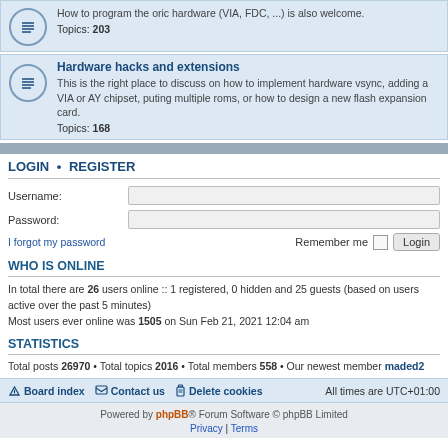How to program the oric hardware (VIA, FDC, ...) is also welcome.
Topics: 203
Hardware hacks and extensions
This is the right place to discuss on how to implement hardware vsync, adding a VIA or AY chipset, puting multiple roms, or how to design a new flash expansion card.
Topics: 168
LOGIN • REGISTER
Username:
Password:
I forgot my password
Remember me  Login
WHO IS ONLINE
In total there are 26 users online :: 1 registered, 0 hidden and 25 guests (based on users active over the past 5 minutes)
Most users ever online was 1505 on Sun Feb 21, 2021 12:04 am
STATISTICS
Total posts 26970 • Total topics 2016 • Total members 558 • Our newest member maded2
Board index  Contact us  Delete cookies  All times are UTC+01:00
Powered by phpBB® Forum Software © phpBB Limited
Privacy | Terms